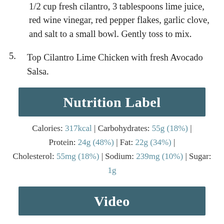1/2 cup fresh cilantro, 3 tablespoons lime juice, red wine vinegar, red pepper flakes, garlic clove, and salt to a small bowl. Gently toss to mix.
5. Top Cilantro Lime Chicken with fresh Avocado Salsa.
Nutrition Label
Calories: 317kcal | Carbohydrates: 55g (18%) | Protein: 24g (48%) | Fat: 22g (34%) | Cholesterol: 55mg (18%) | Sodium: 239mg (10%) | Sugar: 1g
Video